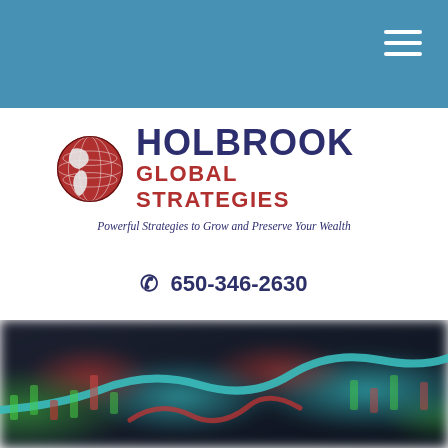[Figure (logo): Holbrook Global Strategies logo with globe icon, company name in navy and red, and tagline 'Powerful Strategies to Grow and Preserve Your Wealth']
650-346-2630
[Figure (photo): Blurred close-up photo of stock market trading board with colorful candlestick chart indicators (red and green) and a teal colored curved line overlay, dark background]